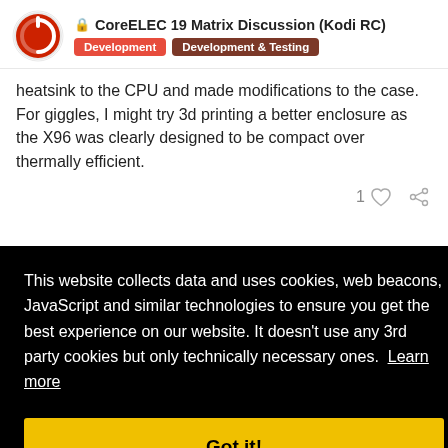CoreELEC 19 Matrix Discussion (Kodi RC) — Development, Development & Testing
heatsink to the CPU and made modifications to the case. For giggles, I might try 3d printing a better enclosure as the X96 was clearly designed to be compact over thermally efficient.
This website collects data and uses cookies, web beacons, JavaScript and similar technologies to ensure you get the best experience on our website. It doesn't use any 3rd party cookies but only technically necessary ones.  Learn more
Got it!
Android7 bootloader